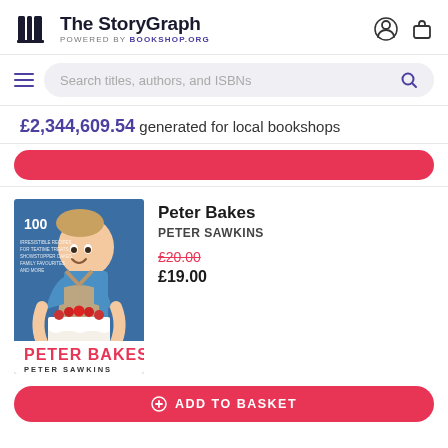The StoryGraph — POWERED BY Bookshop.org
Search titles, authors, and ISBNs
£2,344,609.54 generated for local bookshops
[Figure (photo): Book cover of 'Peter Bakes' by Peter Sawkins showing a young man in an apron holding a white layered cake with strawberries, against a blue background. Text reads '100' and 'PETER BAKES / PETER SAWKINS']
Peter Bakes
PETER SAWKINS
£20.00
£19.00
ADD TO BASKET